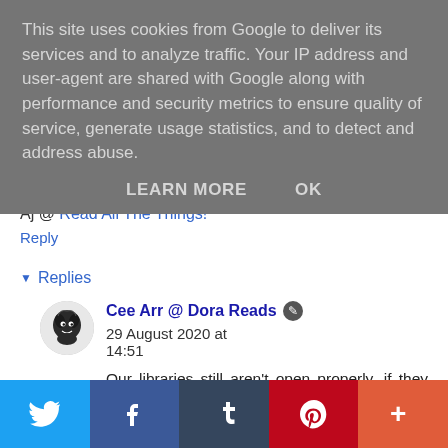This site uses cookies from Google to deliver its services and to analyze traffic. Your IP address and user-agent are shared with Google along with performance and security metrics to ensure quality of service, generate usage statistics, and to detect and address abuse.
LEARN MORE   OK
Aj @ Read All The Things!
Reply
▾ Replies
Cee Arr @ Dora Reads 29 August 2020 at 14:51
Our libraries still aren't open properly, if they even get them to begin with, tbh. Still, I'll get round to them eventually, I'm sure! (I leave stuff on my TBR for years, and then *pounce* if I see
Twitter  Facebook  Tumblr  Pinterest  +